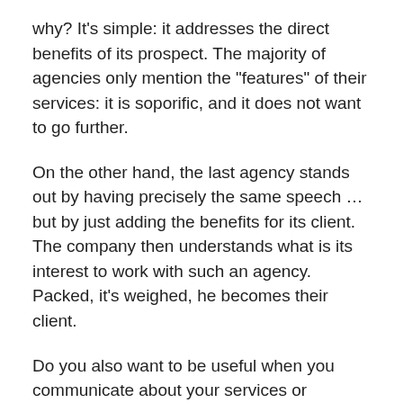why? It's simple: it addresses the direct benefits of its prospect. The majority of agencies only mention the "features" of their services: it is soporific, and it does not want to go further.
On the other hand, the last agency stands out by having precisely the same speech … but by just adding the benefits for its client. The company then understands what is its interest to work with such an agency. Packed, it's weighed, he becomes their client.
Do you also want to be useful when you communicate about your services or products? So turn those features into benefits.
Examples: Do you sell services as a marketing coach? Do not blah blah with your expertise, your years of